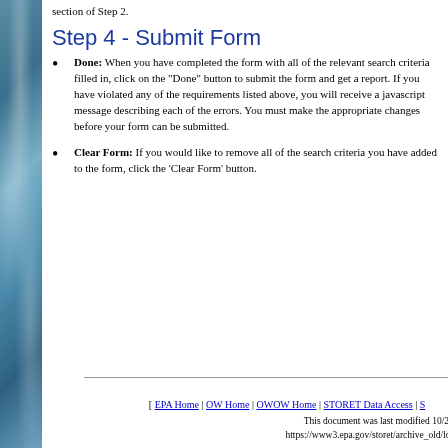section of Step 2.
Step 4 - Submit Form
Done: When you have completed the form with all of the relevant search criteria filled in, click on the "Done" button to submit the form and get a report. If you have violated any of the requirements listed above, you will receive a javascript message describing each of the errors. You must make the appropriate changes before your form can be submitted.
Clear Form: If you would like to remove all of the search criteria you have added to the form, click the 'Clear Form' button.
[ EPA Home | OW Home | OWOW Home | STORET Data Access | S
This document was last modified 10/27/2005 14:
https://www3.epa.gov/storet/archive_old/ldc/userguid